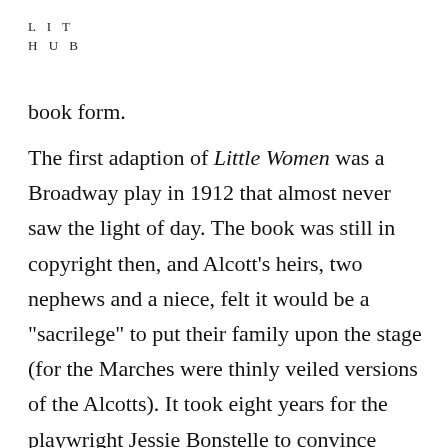L I T
H U B
book form.
The first adaption of Little Women was a Broadway play in 1912 that almost never saw the light of day. The book was still in copyright then, and Alcott’s heirs, two nephews and a niece, felt it would be a “sacrilege” to put their family upon the stage (for the Marches were thinly veiled versions of the Alcotts). It took eight years for the playwright Jessie Bonstelle to convince them of her complete reverence for the Alcott family and their story. When the play finally premiered, it was lauded for the way it